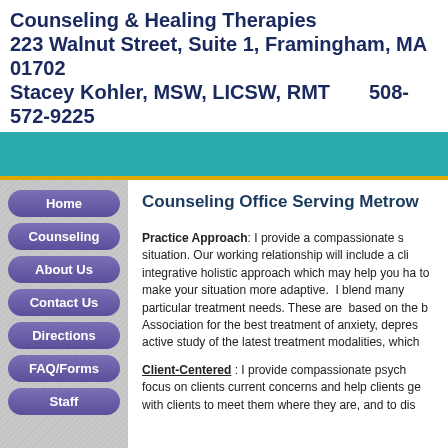Counseling & Healing Therapies
223 Walnut Street, Suite 1, Framingham, MA 01702
Stacey Kohler, MSW, LICSW, RMT    508-572-9225
Home
Counseling
About Us
Contact Us
Directions
FAQ/Forms
Staff
Counseling Office Serving Metrow
Practice Approach: I provide a compassionate s situation. Our working relationship will include a cli integrative holistic approach which may help you ha to make your situation more adaptive.  I blend many particular treatment needs. These are  based on the b Association for the best treatment of anxiety, depres active study of the latest treatment modalities, which
Client-Centered : I provide compassionate psych focus on clients current concerns and help clients ge with clients to meet them where they are, and to dis